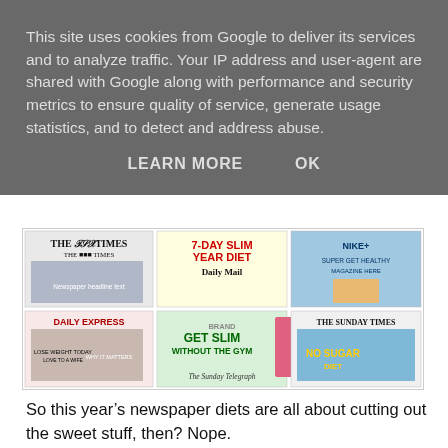This site uses cookies from Google to deliver its services and to analyze traffic. Your IP address and user-agent are shared with Google along with performance and security metrics to ensure quality of service, generate usage statistics, and to detect and address abuse.
LEARN MORE    OK
[Figure (photo): A 2x3 grid of newspaper front pages/headlines including The Times, Daily Mail (7-Day Slim/Year Diet), Nike Plus advertisement, Daily Express, Get Slim Without the Gym (Sunday Telegraph), and The Sunday Times.]
So this year's newspaper diets are all about cutting out the sweet stuff, then? Nope.
Long-term change and self-denial don't sell papers. Instant gratification does.
So it's the DoDo for the Express, the Two-Day Diet in the Mail, Slim Without the Gym for the Telegraph and Fast everything with the Times: 10-minute meditations, 8-minute